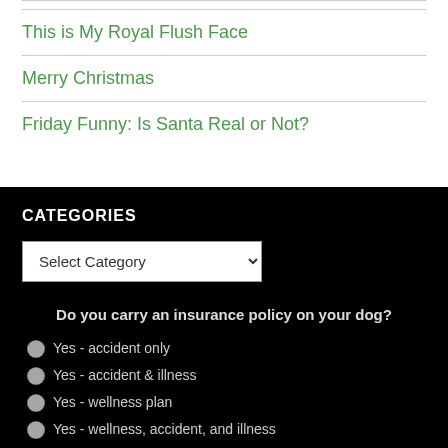This is My Royal Flush Face
Merry Christmas
Friday Funny: Is Santa Real or Not?
CATEGORIES
Select Category
Do you carry an insurance policy on your dog?
Yes - accident only
Yes - accident & illness
Yes - wellness plan
Yes - wellness, accident, and illness
No